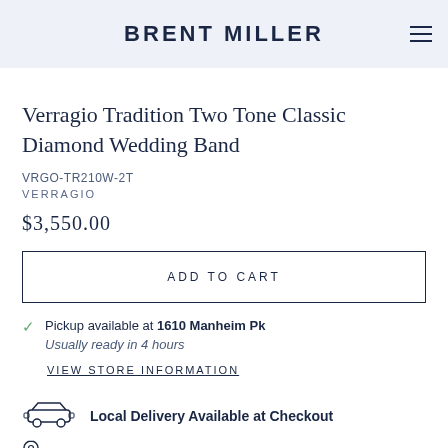BRENT MILLER
Verragio Tradition Two Tone Classic Diamond Wedding Band
VRGO-TR210W-2T
VERRAGIO
$3,550.00
ADD TO CART
Pickup available at 1610 Manheim Pk
Usually ready in 4 hours
VIEW STORE INFORMATION
Local Delivery Available at Checkout